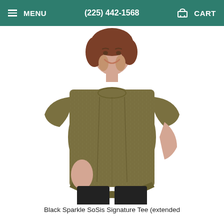MENU   (225) 442-1568   CART
[Figure (photo): A woman wearing a khaki/olive sparkle short-sleeve oversized tee shirt, smiling, against a white background. Plus-size model wearing the Black Sparkle SoSis Signature Tee.]
Black Sparkle SoSis Signature Tee (extended